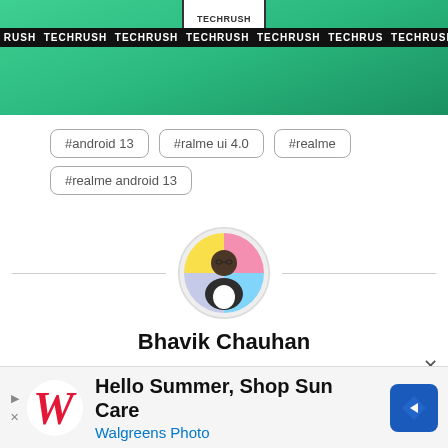[Figure (screenshot): TECHRUSH banner with scrolling text strip and phone outline at top]
#android 13
#ralme ui 4.0
#realme
#realme android 13
[Figure (photo): Circular profile photo of Bhavik Chauhan with colorful background (pink, yellow, blue)]
Bhavik Chauhan
Bhavik is a graduate with two degrees (Engineering
[Figure (other): Walgreens advertisement: Hello Summer, Shop Sun Care — Walgreens Photo]